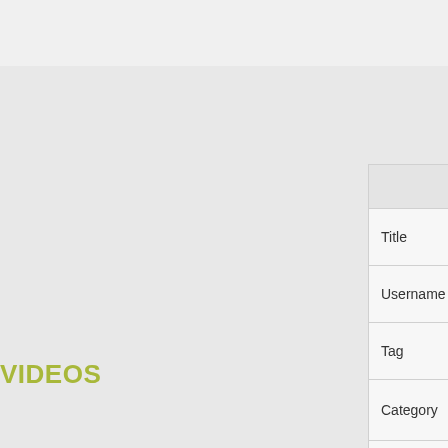[Figure (screenshot): Top navigation bar with olive/yellow-green horizontal line separator]
| Search |
| --- |
| Title |  |
| Username |  |
| Tag | the flash |
| Category | All |
|  | Search |
VIDEOS